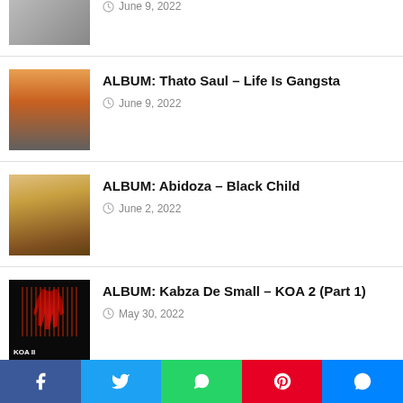[Figure (photo): Partial album art thumbnail at top of page]
June 9, 2022
[Figure (photo): Album art for Thato Saul – Life Is Gangsta, street scene with car]
ALBUM: Thato Saul – Life Is Gangsta
June 9, 2022
[Figure (photo): Album art for Abidoza – Black Child, warm tones with child figure]
ALBUM: Abidoza – Black Child
June 2, 2022
[Figure (photo): Album art for Kabza De Small – KOA 2 Part 1, dark background with red hand]
ALBUM: Kabza De Small – KOA 2 (Part 1)
May 30, 2022
EP: Felo Le Tee – Contagious